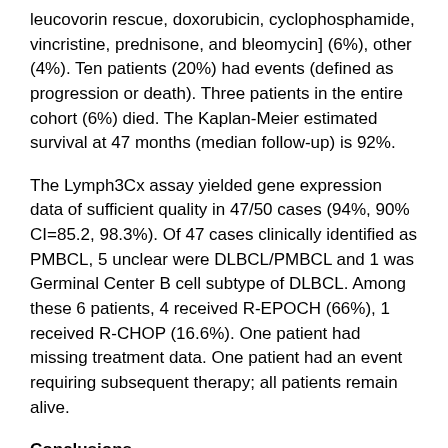leucovorin rescue, doxorubicin, cyclophosphamide, vincristine, prednisone, and bleomycin] (6%), other (4%). Ten patients (20%) had events (defined as progression or death). Three patients in the entire cohort (6%) died. The Kaplan-Meier estimated survival at 47 months (median follow-up) is 92%.
The Lymph3Cx assay yielded gene expression data of sufficient quality in 47/50 cases (94%, 90% CI=85.2, 98.3%). Of 47 cases clinically identified as PMBCL, 5 unclear were DLBCL/PMBCL and 1 was Germinal Center B cell subtype of DLBCL. Among these 6 patients, 4 received R-EPOCH (66%), 1 received R-CHOP (16.6%). One patient had missing treatment data. One patient had an event requiring subsequent therapy; all patients remain alive.
Conclusions
Using 47 patients with PMBCL defined by histology, clinical and radiographic findings, and molecular features, we